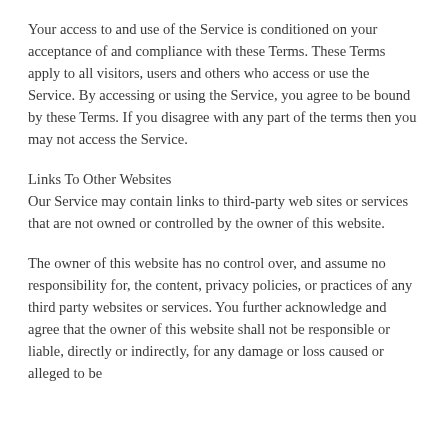Your access to and use of the Service is conditioned on your acceptance of and compliance with these Terms. These Terms apply to all visitors, users and others who access or use the Service. By accessing or using the Service, you agree to be bound by these Terms. If you disagree with any part of the terms then you may not access the Service.
Links To Other Websites
Our Service may contain links to third-party web sites or services that are not owned or controlled by the owner of this website.
The owner of this website has no control over, and assume no responsibility for, the content, privacy policies, or practices of any third party websites or services. You further acknowledge and agree that the owner of this website shall not be responsible or liable, directly or indirectly, for any damage or loss caused or alleged to be